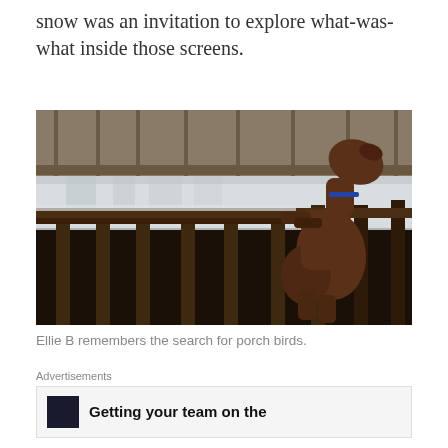snow was an invitation to explore what-was-what inside those screens.
[Figure (photo): A dog standing on its hind legs on a snow-covered wooden deck or porch, with its front paws on the railing, looking out over the snow. A wooden fence is visible in the background.]
Ellie B remembers the search for porch birds.
Advertisements
Getting your team on the